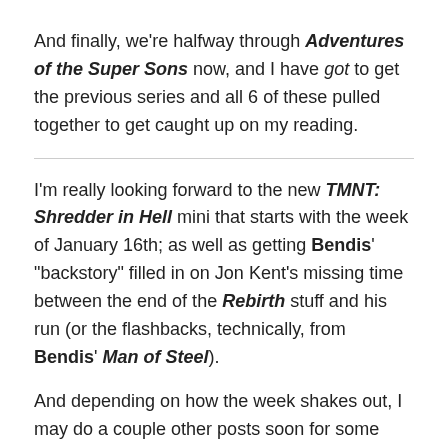And finally, we're halfway through Adventures of the Super Sons now, and I have got to get the previous series and all 6 of these pulled together to get caught up on my reading.
I'm really looking forward to the new TMNT: Shredder in Hell mini that starts with the week of January 16th; as well as getting Bendis' "backstory" filled in on Jon Kent's missing time between the end of the Rebirth stuff and his run (or the flashbacks, technically, from Bendis' Man of Steel).
And depending on how the week shakes out, I may do a couple other posts soon for some other acquisitions of "stuff." As I'm repeating through this post, though…time